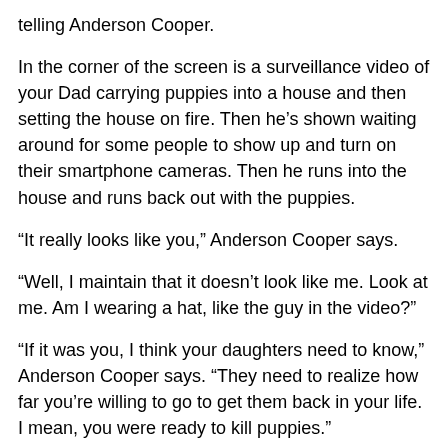telling Anderson Cooper.
In the corner of the screen is a surveillance video of your Dad carrying puppies into a house and then setting the house on fire. Then he's shown waiting around for some people to show up and turn on their smartphone cameras. Then he runs into the house and runs back out with the puppies.
“It really looks like you,” Anderson Cooper says.
“Well, I maintain that it doesn’t look like me. Look at me. Am I wearing a hat, like the guy in the video?”
“If it was you, I think your daughters need to know,” Anderson Cooper says. “They need to realize how far you’re willing to go to get them back in your life. I mean, you were ready to kill puppies.”
Your dad isn’t sure how to respond so he says, “Maybe?”
“That’s a lot to have on your conscience,” Anderson Cooper